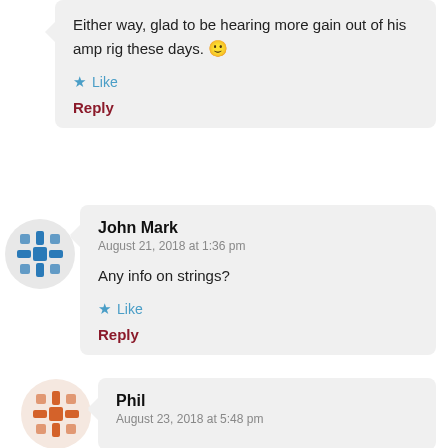Either way, glad to be hearing more gain out of his amp rig these days. 🙂
★ Like
Reply
[Figure (illustration): Blue mosaic/snowflake avatar icon for John Mark]
John Mark
August 21, 2018 at 1:36 pm
Any info on strings?
★ Like
Reply
[Figure (illustration): Orange mosaic/snowflake avatar icon for Phil]
Phil
August 23, 2018 at 5:48 pm